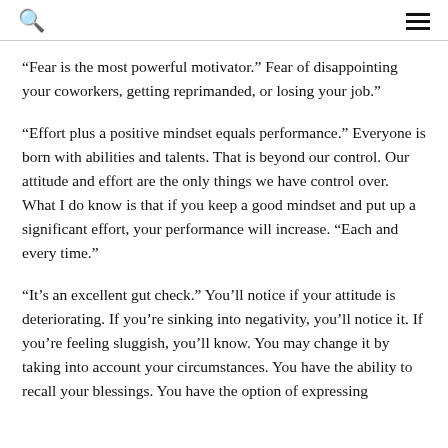[search icon] [menu icon]
“Fear is the most powerful motivator.” Fear of disappointing your coworkers, getting reprimanded, or losing your job.”
“Effort plus a positive mindset equals performance.” Everyone is born with abilities and talents. That is beyond our control. Our attitude and effort are the only things we have control over. What I do know is that if you keep a good mindset and put up a significant effort, your performance will increase. “Each and every time.”
“It’s an excellent gut check.” You’ll notice if your attitude is deteriorating. If you’re sinking into negativity, you’ll notice it. If you’re feeling sluggish, you’ll know. You may change it by taking into account your circumstances. You have the ability to recall your blessings. You have the option of expressing